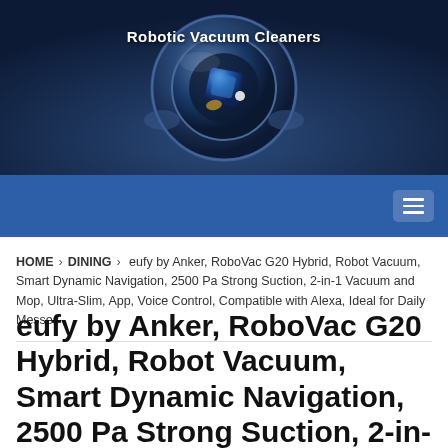[Figure (photo): Close-up top view of a robotic vacuum cleaner with blue metallic finish, circular design]
Robotic Vacuum Cleaners
HOME › DINING › eufy by Anker, RoboVac G20 Hybrid, Robot Vacuum, Smart Dynamic Navigation, 2500 Pa Strong Suction, 2-in-1 Vacuum and Mop, Ultra-Slim, App, Voice Control, Compatible with Alexa, Ideal for Daily Messes
eufy by Anker, RoboVac G20 Hybrid, Robot Vacuum, Smart Dynamic Navigation, 2500 Pa Strong Suction, 2-in-1 Vacuum and Mop, Ultra-Slim, App, Voice Control, Compatible with Alexa,